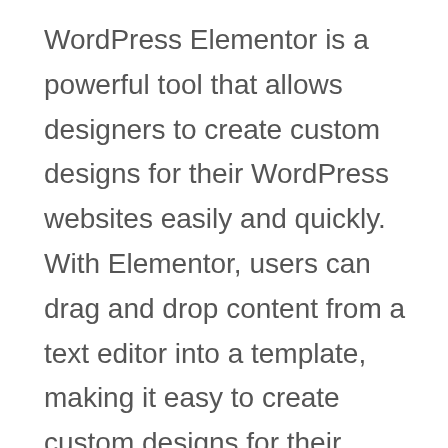WordPress Elementor is a powerful tool that allows designers to create custom designs for their WordPress websites easily and quickly. With Elementor, users can drag and drop content from a text editor into a template, making it easy to create custom designs for their WordPress sites. Elementor also offers an extensive library of ready-made templates, so you can get started right away. Whether you’re a novice designer or an experienced one, Elementor is the perfect tool for creating custom WordPress designs.